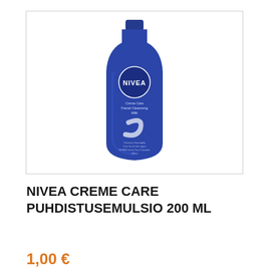[Figure (photo): NIVEA Creme Care Facial Cleansing Milk 200ml blue bottle product photo]
NIVEA CREME CARE PUHDISTUSEMULSIO 200 ML
1,00 €